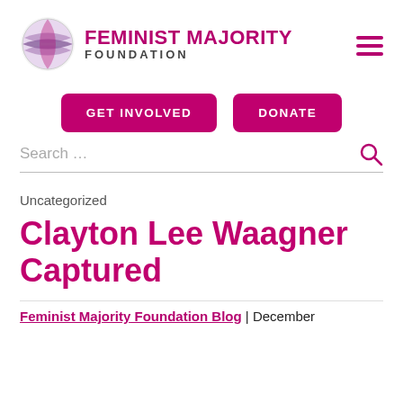FEMINIST MAJORITY FOUNDATION
GET INVOLVED
DONATE
Search ...
Uncategorized
Clayton Lee Waagner Captured
Feminist Majority Foundation Blog | December